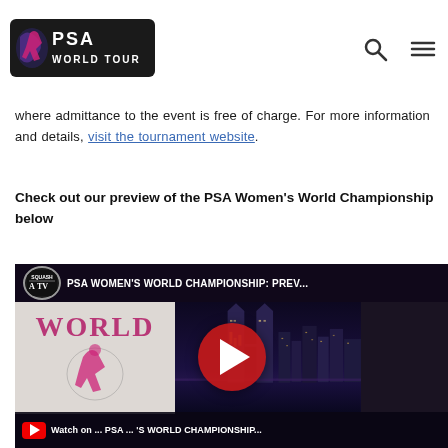PSA World Tour
where admittance to the event is free of charge. For more information and details, visit the tournament website.
Check out our preview of the PSA Women's World Championship below
[Figure (screenshot): YouTube embedded video thumbnail for PSA Women's World Championship preview, showing Kuala Lumpur city skyline at night with Petronas Towers, and a YouTube play button overlay. The video title bar reads 'PSA WOMEN'S WORLD CHAMPIONSHIP: PREV...' with a SquashTV logo badge. Bottom bar shows YouTube logo and 'Watch on ... PSA ... 's WORLD CHAMPIONSHIP'.]